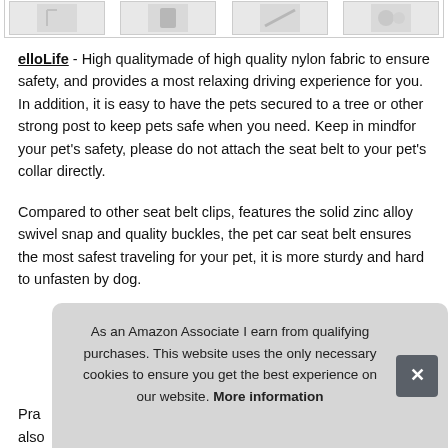[Figure (photo): Strip of four product thumbnail images at the top of the page, showing pet seat belt products]
elloLife - High qualitymade of high quality nylon fabric to ensure safety, and provides a most relaxing driving experience for you. In addition, it is easy to have the pets secured to a tree or other strong post to keep pets safe when you need. Keep in mindfor your pet's safety, please do not attach the seat belt to your pet's collar directly.
Compared to other seat belt clips, features the solid zinc alloy swivel snap and quality buckles, the pet car seat belt ensures the most safest traveling for your pet, it is more sturdy and hard to unfasten by dog.
Pra
also
As an Amazon Associate I earn from qualifying purchases. This website uses the only necessary cookies to ensure you get the best experience on our website. More information